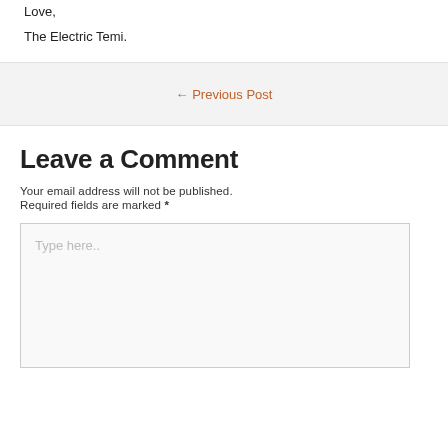Love,
The Electric Temi.
← Previous Post
Leave a Comment
Your email address will not be published. Required fields are marked *
Type here..